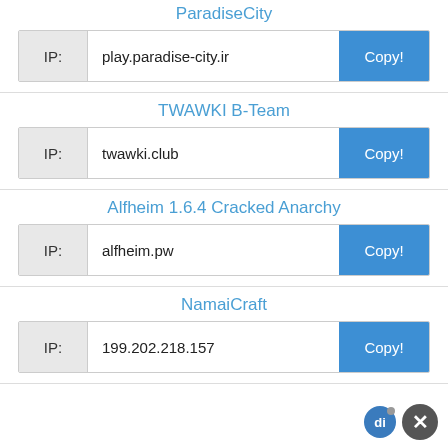ParadiseCity
| IP: | play.paradise-city.ir | Copy! |
| --- | --- | --- |
TWAWKI B-Team
| IP: | twawki.club | Copy! |
| --- | --- | --- |
Alfheim 1.6.4 Cracked Anarchy
| IP: | alfheim.pw | Copy! |
| --- | --- | --- |
NamaiCraft
| IP: | 199.202.218.157 | Copy! |
| --- | --- | --- |